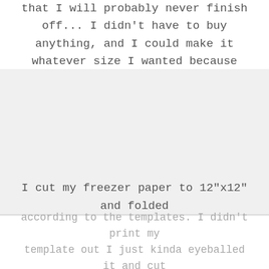that I will probably never finish off... I didn't have to buy anything, and I could make it whatever size I wanted because it's a huge roll of freezer paper!
[Figure (photo): A blank/white image area placeholder in the middle of the page]
I cut my freezer paper to 12"x12" and folded according to the templates. I didn't print my template out I just kinda eyeballed it and cut